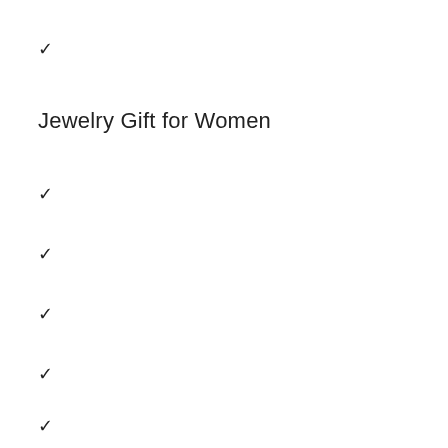✓
Jewelry Gift for Women
✓
✓
✓
✓
✓
✓